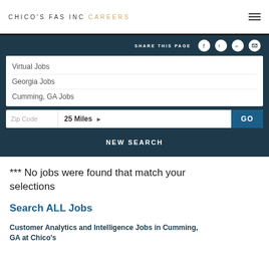CHICO'S FAS INC CAREERS
SHARE THIS PAGE
Virtual Jobs
Georgia Jobs
Cumming, GA Jobs
Zip Code  25 Miles  GO
NEW SEARCH
*** No jobs were found that match your selections
Search ALL Jobs
Customer Analytics and Intelligence Jobs in Cumming, GA at Chico's